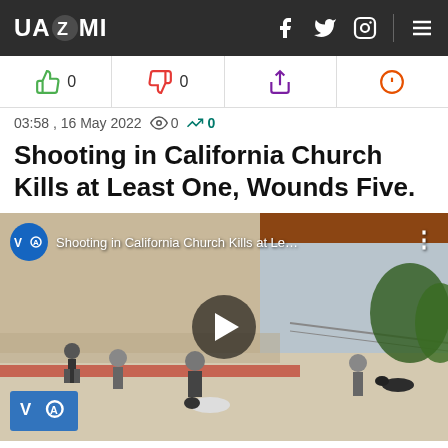UAZMI
👍 0   👎 0   ↑   ⊙
03:58 , 16 May 2022  👁 0  📈 0
Shooting in California Church Kills at Least One, Wounds Five.
[Figure (screenshot): VOA video thumbnail showing aerial view of people outside a building. VOA badge in top-left, play button in center, text: 'Shooting in California Church Kills at Le...' VOA logo watermark bottom-left.]